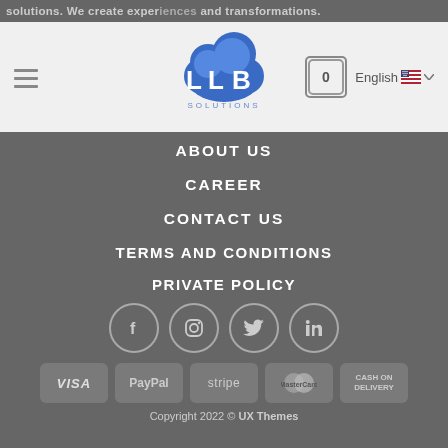solutions. We create experiences and transformations.
[Figure (logo): LLB Solutions cloud logo with blue cloud graphic and letters LLB, navigation bar with hamburger menu, cart icon showing 0, and English language selector with flag]
ABOUT US
CAREER
CONTACT US
TERMS AND CONDITIONS
PRIVATE POLICY
[Figure (infographic): Social media icons in circles: Facebook, Instagram, Twitter, LinkedIn]
[Figure (infographic): Payment method badges: VISA, PayPal, stripe, MasterCard, CASH ON DELIVERY]
Copyright 2022 © UX Themes